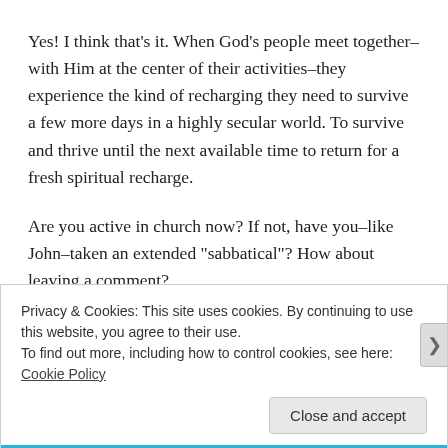Yes! I think that’s it. When God’s people meet together–with Him at the center of their activities–they experience the kind of recharging they need to survive a few more days in a highly secular world. To survive and thrive until the next available time to return for a fresh spiritual recharge.
Are you active in church now? If not, have you–like John–taken an extended “sabbatical”? How about leaving a comment?
~*~
Privacy & Cookies: This site uses cookies. By continuing to use this website, you agree to their use.
To find out more, including how to control cookies, see here: Cookie Policy
Close and accept